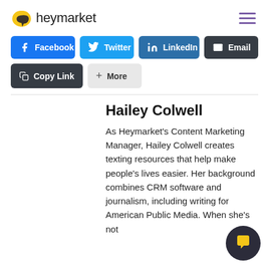heymarket
[Figure (logo): Heymarket logo with speech bubble icon and wordmark]
[Figure (infographic): Social share buttons: Facebook, Twitter, LinkedIn, Email, Copy Link, More]
Hailey Colwell
As Heymarket's Content Marketing Manager, Hailey Colwell creates texting resources that help make people's lives easier. Her background combines CRM software and journalism, including writing for American Public Media. When she's not